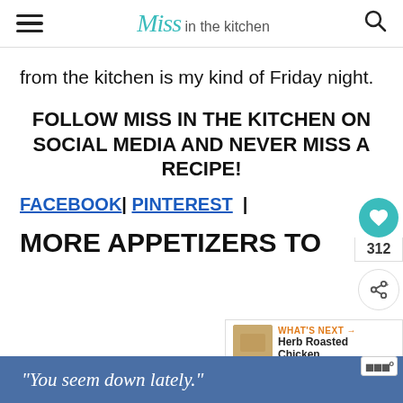Miss in the kitchen
from the kitchen is my kind of Friday night.
FOLLOW MISS IN THE KITCHEN ON SOCIAL MEDIA AND NEVER MISS A RECIPE!
FACEBOOK | PINTEREST |
MORE APPETIZERS TO
[Figure (screenshot): Ad banner with quote: You seem down lately.]
[Figure (infographic): What's Next card: Herb Roasted Chicken...]
[Figure (infographic): Side widget: heart icon with 312 count and share icon]